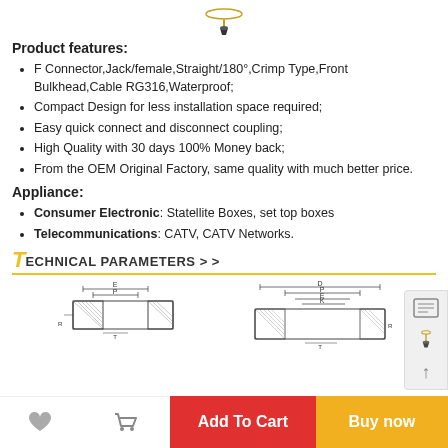[Figure (photo): Small F connector photo at top center]
Product features:
F Connector,Jack/female,Straight/180°,Crimp Type,Front Bulkhead,Cable RG316,Waterproof;
Compact Design for less installation space required;
Easy quick connect and disconnect coupling;
High Quality with 30 days 100% Money back;
From the OEM Original Factory, same quality with much better price.
Appliance:
Consumer Electronic: Statellite Boxes, set top boxes
Telecommunications: CATV, CATV Networks.
TECHNICAL PARAMETERS > >
[Figure (engineering-diagram): Two cross-section engineering diagrams of the F connector showing dimensional parameters labeled D, E, P, K, R, T]